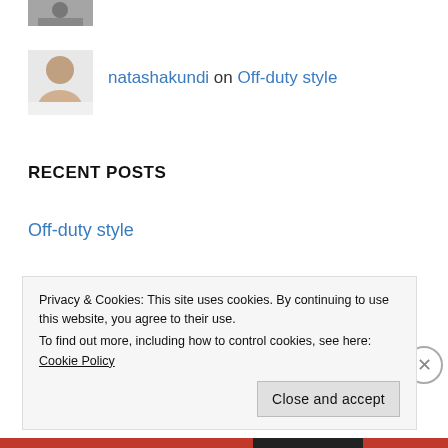[Figure (photo): Small avatar image partially visible at top]
[Figure (photo): Profile photo of natashakundi]
natashakundi on Off-duty style
RECENT POSTS
Off-duty style
Lilac Edit
Pretty and Powerful in Pink
Privacy & Cookies: This site uses cookies. By continuing to use this website, you agree to their use.
To find out more, including how to control cookies, see here: Cookie Policy
Close and accept